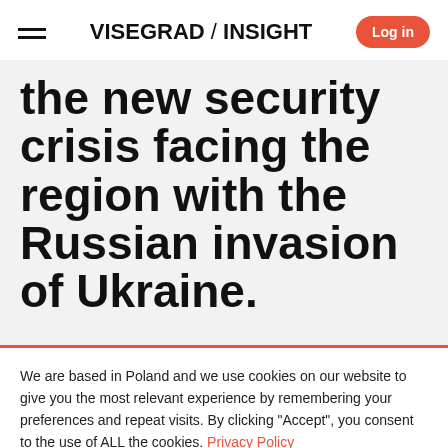VISEGRAD / INSIGHT
the new security crisis facing the region with the Russian invasion of Ukraine.
We are based in Poland and we use cookies on our website to give you the most relevant experience by remembering your preferences and repeat visits. By clicking "Accept", you consent to the use of ALL the cookies. Privacy Policy
ACCEPT